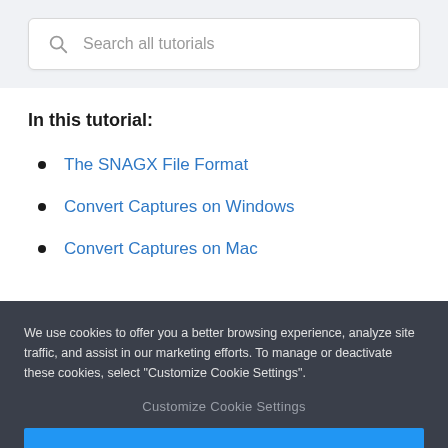[Figure (screenshot): Search box with magnifying glass icon and placeholder text 'Search all tutorials']
In this tutorial:
The SNAGX File Format
Convert Captures on Windows
Convert Captures on Mac
We use cookies to offer you a better browsing experience, analyze site traffic, and assist in our marketing efforts. To manage or deactivate these cookies, select "Customize Cookie Settings".
Customize Cookie Settings